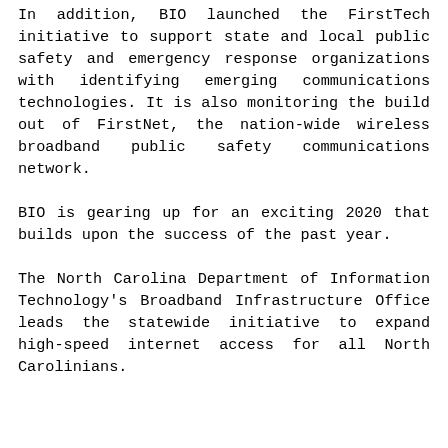In addition, BIO launched the FirstTech initiative to support state and local public safety and emergency response organizations with identifying emerging communications technologies. It is also monitoring the build out of FirstNet, the nation-wide wireless broadband public safety communications network.
BIO is gearing up for an exciting 2020 that builds upon the success of the past year.
The North Carolina Department of Information Technology's Broadband Infrastructure Office leads the statewide initiative to expand high-speed internet access for all North Carolinians.